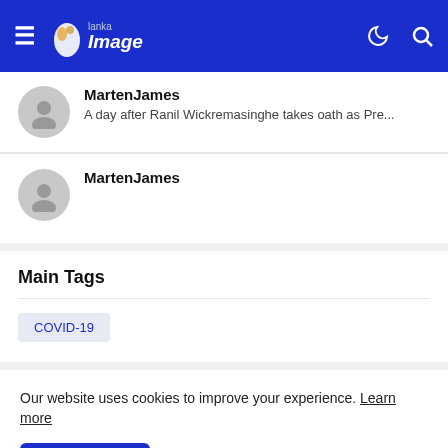Lanka Image — navigation bar with hamburger menu, logo, moon icon, and search icon
MartenJames — A day after Ranil Wickremasinghe takes oath as Pre...
MartenJames
Main Tags
COVID-19
Our website uses cookies to improve your experience. Learn more
Accept !